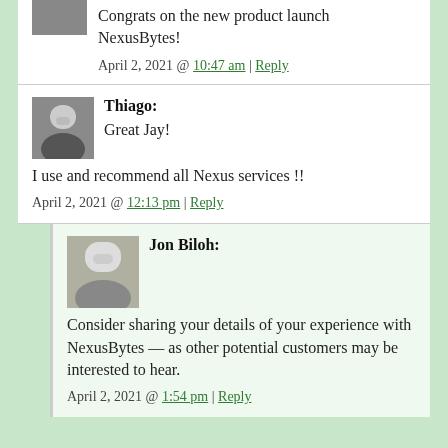Congrats on the new product launch NexusBytes!
April 2, 2021 @ 10:47 am | Reply
Thiago: Great Jay!

I use and recommend all Nexus services !!
April 2, 2021 @ 12:13 pm | Reply
Jon Biloh: Consider sharing your details of your experience with NexusBytes — as other potential customers may be interested to hear.
April 2, 2021 @ 1:54 pm | Reply